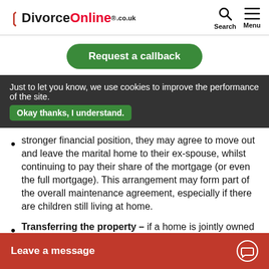DivorceOnline.co.uk — Search | Menu
Request a callback
Just to let you know, we use cookies to improve the performance of the site. Okay thanks, I understand.
stronger financial position, they may agree to move out and leave the marital home to their ex-spouse, whilst continuing to pay their share of the mortgage (or even the full mortgage). This arrangement may form part of the overall maintenance agreement, especially if there are children still living at home.
Transferring the property – if a home is jointly owned and the mortgage has been paid off, one spouse may agree to transfer the property to their ex as part of...
Leave a message